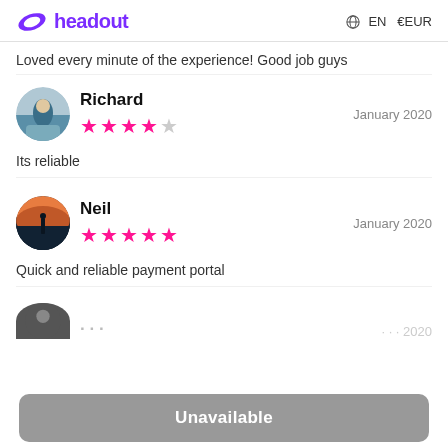headout   EN  €EUR
Loved every minute of the experience! Good job guys
Richard   January 2020   ★★★★☆   Its reliable
Neil   January 2020   ★★★★★   Quick and reliable payment portal
Unavailable